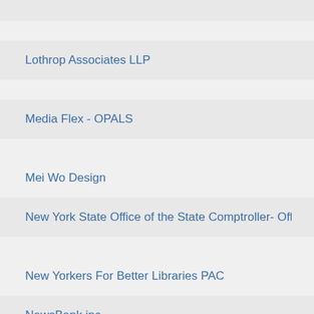Lothrop Associates LLP
Media Flex - OPALS
Mei Wo Design
New York State Office of the State Comptroller- Office of Unclaim
New Yorkers For Better Libraries PAC
NewsBank inc.
OverDrive, Inc.
Park East Construction